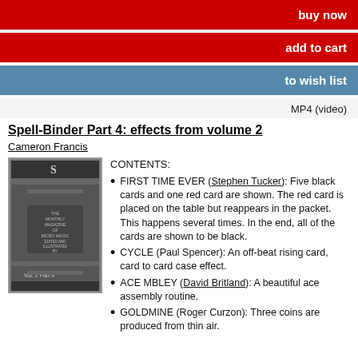buy now
add to cart
to wish list
MP4 (video)
Spell-Binder Part 4: effects from volume 2
Cameron Francis
[Figure (photo): Book cover of Spell-Binder Vol. 2 Part 4, a monthly magazine for micro magic edited and illustrated by Stephen Tucker]
CONTENTS:
FIRST TIME EVER (Stephen Tucker): Five black cards and one red card are shown. The red card is placed on the table but reappears in the packet. This happens several times. In the end, all of the cards are shown to be black.
CYCLE (Paul Spencer): An off-beat rising card, card to card case effect.
ACE MBLEY (David Britland): A beautiful ace assembly routine.
GOLDMINE (Roger Curzon): Three coins are produced from thin air.